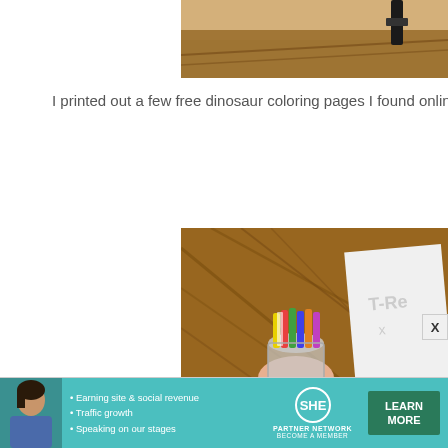[Figure (photo): Partial photo of a wooden surface or furniture with dark strap/buckle visible at top, cropped at top of page]
I printed out a few free dinosaur coloring pages I found online and p
[Figure (photo): A child's hand holding a glass jar filled with colorful crayons on a wooden table, with a coloring page showing 'T-Rex' text visible at right]
[Figure (photo): SHE Partner Network advertisement banner featuring a woman, bullet points about earning site & social revenue, traffic growth, speaking on our stages, SHE logo, and a Learn More button]